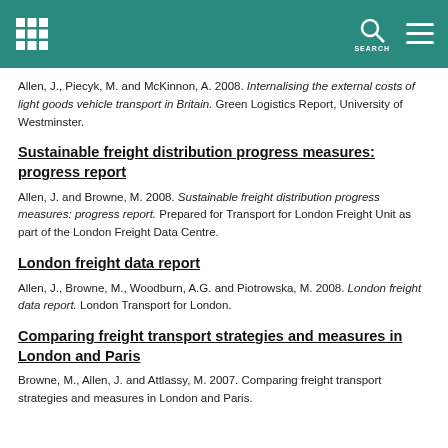Header bar with grid icon, search icon, and menu icon
Allen, J., Piecyk, M. and McKinnon, A. 2008. Internalising the external costs of light goods vehicle transport in Britain. Green Logistics Report, University of Westminster.
Sustainable freight distribution progress measures: progress report
Allen, J. and Browne, M. 2008. Sustainable freight distribution progress measures: progress report. Prepared for Transport for London Freight Unit as part of the London Freight Data Centre.
London freight data report
Allen, J., Browne, M., Woodburn, A.G. and Piotrowska, M. 2008. London freight data report. London Transport for London.
Comparing freight transport strategies and measures in London and Paris
Browne, M., Allen, J. and Attlassy, M. 2007. Comparing freight transport strategies and measures in London and Paris.